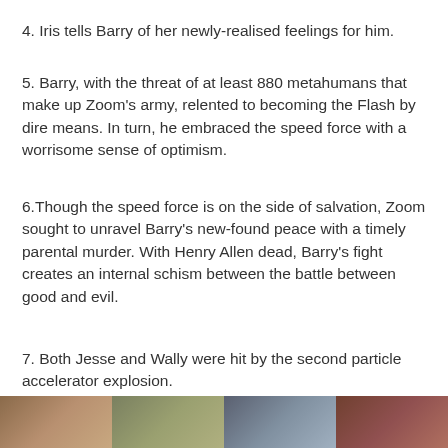4. Iris tells Barry of her newly-realised feelings for him.
5. Barry, with the threat of at least 880 metahumans that make up Zoom's army, relented to becoming the Flash by dire means. In turn, he embraced the speed force with a worrisome sense of optimism.
6.Though the speed force is on the side of salvation, Zoom sought to unravel Barry's new-found peace with a timely parental murder. With Henry Allen dead, Barry's fight creates an internal schism between the battle between good and evil.
7. Both Jesse and Wally were hit by the second particle accelerator explosion.
[Figure (photo): Photo strip at bottom of page showing multiple images, partially visible]